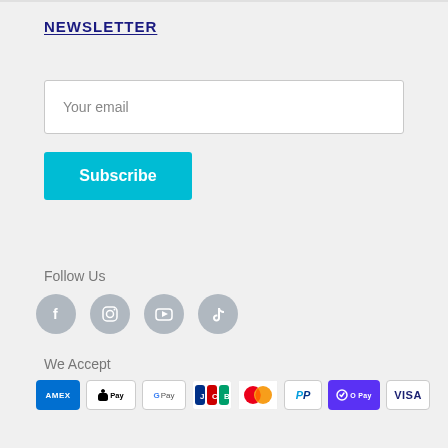NEWSLETTER
Your email
Subscribe
Follow Us
[Figure (infographic): Four social media icons in grey circles: Facebook (f), Instagram (camera/square), YouTube (play button), TikTok (music note/logo)]
We Accept
[Figure (infographic): Payment method badges: AMEX, Apple Pay, Google Pay, JCB, Mastercard, PayPal, Shop Pay (O Pay), Visa]